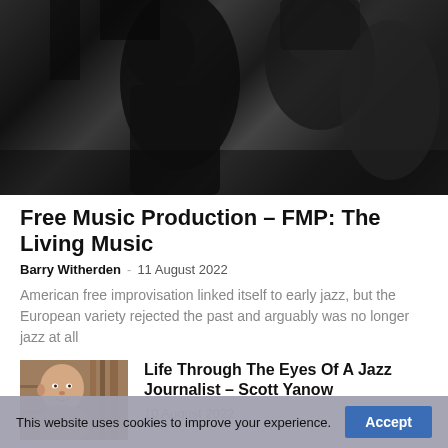[Figure (photo): Black and white photo of musicians, dark moody image]
Free Music Production – FMP: The Living Music
Barry Witherden · 11 August 2022
American free improvisation linked itself to early jazz, but the European variety rejected the past and arguably was no longer jazz at all
[Figure (photo): Photo of a jazz journalist man, bald, in front of bookshelves]
Life Through The Eyes Of A Jazz Journalist – Scott Yanow
10 August 2022
[Figure (photo): Book cover: Essence Of Murder, A Captain Darac Mystery by Peter Morfoot]
Essence Of Murder, A Captain Darac Mystery
This website uses cookies to improve your experience.